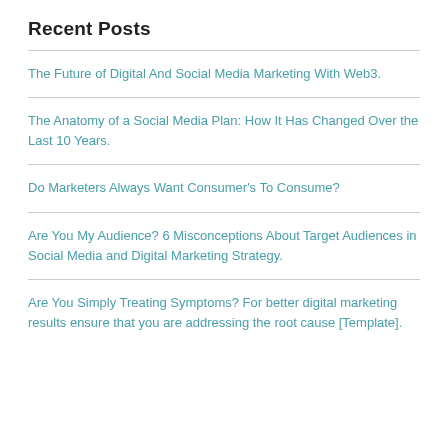Recent Posts
The Future of Digital And Social Media Marketing With Web3.
The Anatomy of a Social Media Plan: How It Has Changed Over the Last 10 Years.
Do Marketers Always Want Consumer's To Consume?
Are You My Audience? 6 Misconceptions About Target Audiences in Social Media and Digital Marketing Strategy.
Are You Simply Treating Symptoms? For better digital marketing results ensure that you are addressing the root cause [Template].